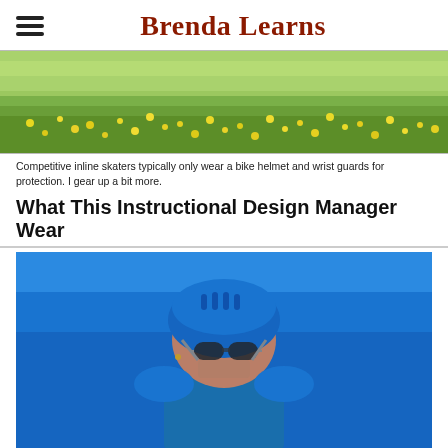Brenda Learns
[Figure (photo): Outdoor scene with green grassy field and yellow wildflowers in the background]
Competitive inline skaters typically only wear a bike helmet and wrist guards for protection. I gear up a bit more.
What This Instructional Design Manager Wear
[Figure (photo): Person wearing a blue helmet and sunglasses, dressed in a blue sleeveless top against a blue sky background]